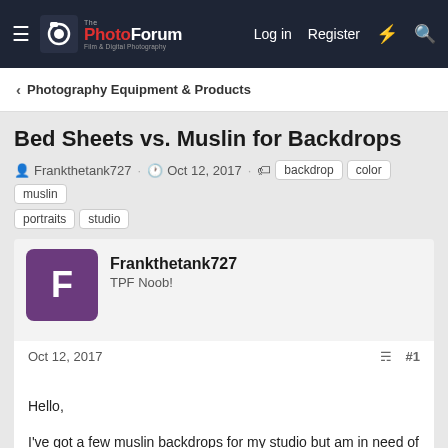The Photo Forum — Log in  Register
Photography Equipment & Products
Bed Sheets vs. Muslin for Backdrops
Frankthetank727 · Oct 12, 2017 · backdrop  color  muslin  portraits  studio
Frankthetank727
TPF Noob!
Oct 12, 2017  #1
Hello,

I've got a few muslin backdrops for my studio but am in need of a variety of colored ones. I can't really afford to drop 100$ plus on multiple backdrops, so I was wondering if anyone has had